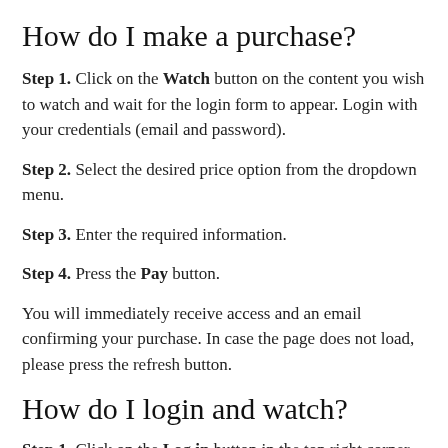How do I make a purchase?
Step 1. Click on the Watch button on the content you wish to watch and wait for the login form to appear. Login with your credentials (email and password).
Step 2. Select the desired price option from the dropdown menu.
Step 3. Enter the required information.
Step 4. Press the Pay button.
You will immediately receive access and an email confirming your purchase. In case the page does not load, please press the refresh button.
How do I login and watch?
Step 1. Click on the Log in button in the top right corner or